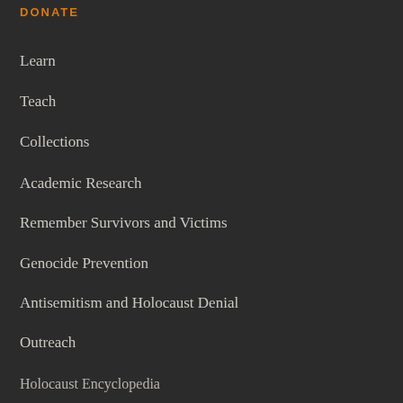DONATE
Learn
Teach
Collections
Academic Research
Remember Survivors and Victims
Genocide Prevention
Antisemitism and Holocaust Denial
Outreach
Holocaust Encyclopedia
Collections Search